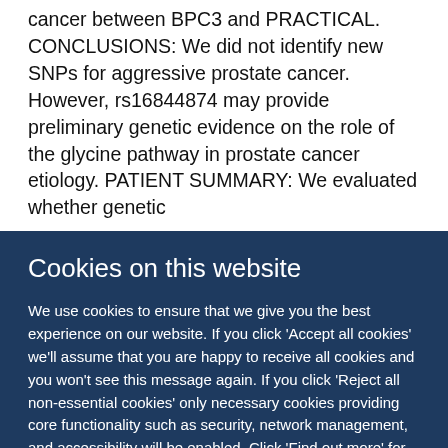cancer between BPC3 and PRACTICAL. CONCLUSIONS: We did not identify new SNPs for aggressive prostate cancer. However, rs16844874 may provide preliminary genetic evidence on the role of the glycine pathway in prostate cancer etiology. PATIENT SUMMARY: We evaluated whether genetic
Cookies on this website
We use cookies to ensure that we give you the best experience on our website. If you click 'Accept all cookies' we'll assume that you are happy to receive all cookies and you won't see this message again. If you click 'Reject all non-essential cookies' only necessary cookies providing core functionality such as security, network management, and accessibility will be enabled. Click 'Find out more' for information on how to change your cookie settings.
Accept all cookies
Reject all non-essential cookies